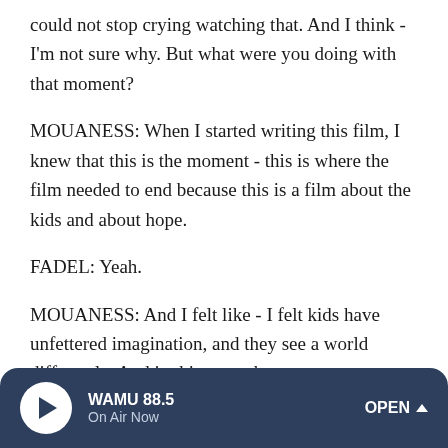could not stop crying watching that. And I think - I'm not sure why. But what were you doing with that moment?
MOUANESS: When I started writing this film, I knew that this is the moment - this is where the film needed to end because this is a film about the kids and about hope.
FADEL: Yeah.
MOUANESS: And I felt like - I felt kids have unfettered imagination, and they see a world differently. And in this case, there are so many reasons I felt that this was 100% the way the film should - I should leave the audience because I think the film is - as beautiful as the narrative is, it gets really tough for the viewer, that I felt - if I managed to have the
[Figure (other): WAMU 88.5 radio player bar with play button, station name 'WAMU 88.5', 'On Air Now' subtitle, and 'OPEN ^' button on dark navy background]